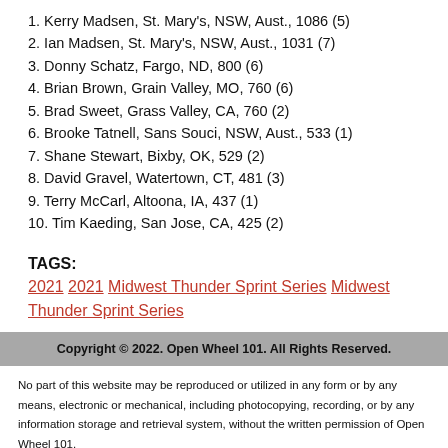1. Kerry Madsen, St. Mary's, NSW, Aust., 1086 (5)
2. Ian Madsen, St. Mary's, NSW, Aust., 1031 (7)
3. Donny Schatz, Fargo, ND, 800 (6)
4. Brian Brown, Grain Valley, MO, 760 (6)
5. Brad Sweet, Grass Valley, CA, 760 (2)
6. Brooke Tatnell, Sans Souci, NSW, Aust., 533 (1)
7. Shane Stewart, Bixby, OK, 529 (2)
8. David Gravel, Watertown, CT, 481 (3)
9. Terry McCarl, Altoona, IA, 437 (1)
10. Tim Kaeding, San Jose, CA, 425 (2)
TAGS:
2021 2021 Midwest Thunder Sprint Series Midwest Thunder Sprint Series
Copyright © 2022. Open Wheel 101. All Rights Reserved.
No part of this website may be reproduced or utilized in any form or by any means, electronic or mechanical, including photocopying, recording, or by any information storage and retrieval system, without the written permission of Open Wheel 101.